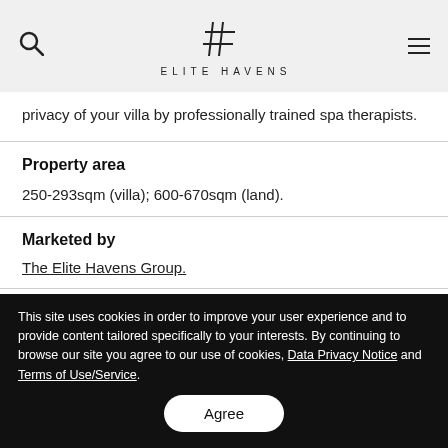ELITE HAVENS
privacy of your villa by professionally trained spa therapists.
Property area
250-293sqm (villa); 600-670sqm (land).
Marketed by
The Elite Havens Group.
Gallery  Floorplan
This site uses cookies in order to improve your user experience and to provide content tailored specifically to your interests. By continuing to browse our site you agree to our use of cookies, Data Privacy Notice and Terms of Use/Service.